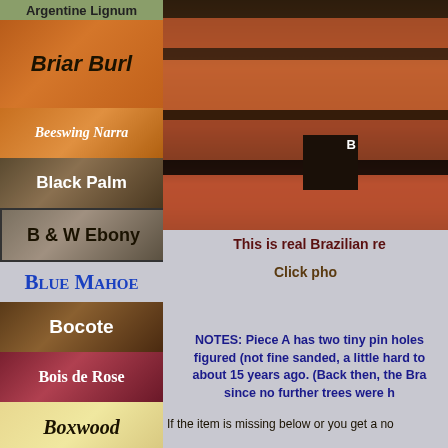Argentine Lignum
Briar Burl
Beeswing Narra
Black Palm
B & W Ebony
Blue Mahoe
Bocote
Bois de Rose
Boxwood
Box Elder
Bubinga
Burma Blackwood
[Figure (photo): Photo of stacked wood slabs with a dark cube labeled B on top]
This is real Brazilian re
Click pho
NOTES: Piece A has two tiny pin holes figured (not fine sanded, a little hard to about 15 years ago. (Back then, the Bra since no further trees were h
If the item is missing below or you get a no